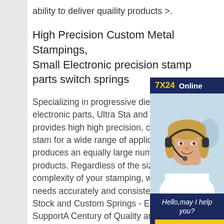ability to deliver quaility products >.
High Precision Custom Metal Stampings, Small Electronic precision stamp parts switch springs
Specializing in progressive die sta for small electronic parts, Ultra St and Assembly, Inc. provides high high precision, custom metal sta for a wide range of applications, a produces an equally large numbe stamping products. Regardless of the size, shape, or complexity of your stamping, we can meet your needs accurately and consistently. Lee Spring Stock and Custom Springs - Engineering SupportA Century of Quality and
[Figure (photo): Chat widget with 7X24 Online header, photo of woman with headset smiling, 'Hello, may I help you?' text, and 'Get Latest Price' yellow button]